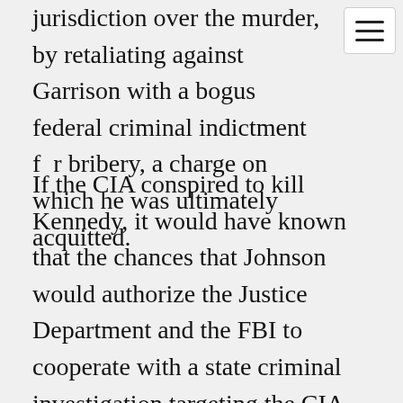jurisdiction over the murder, by retaliating against Garrison with a bogus federal criminal indictment for bribery, a charge on which he was ultimately acquitted.
If the CIA conspired to kill Kennedy, it would have known that the chances that Johnson would authorize the Justice Department and the FBI to cooperate with a state criminal investigation targeting the CIA were nil. After all, don't forget that we're talking about the Cold War, when U.S. officials genuinely believed that the United States was in grave danger of a communist takeover. And they were even more convinced then that the CIA was absolutely essential to national security than they are today under the war on terrorism.